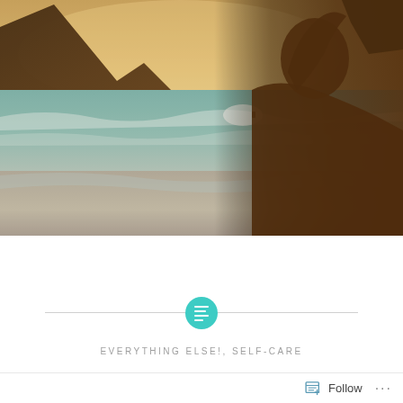[Figure (photo): A person (seen from behind, with long hair, shirtless) standing at the beach looking out at ocean waves. A surfer is visible in the water. Warm golden sunset sky and dark mountain silhouette on the left. A dark structure is visible at top right.]
EVERYTHING ELSE!, SELF-CARE
Follow ...